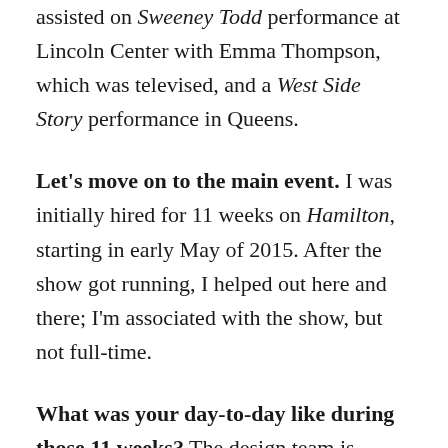assisted on Sweeney Todd performance at Lincoln Center with Emma Thompson, which was televised, and a West Side Story performance in Queens.
Let's move on to the main event. I was initially hired for 11 weeks on Hamilton, starting in early May of 2015. After the show got running, I helped out here and there; I'm associated with the show, but not full-time.
What was your day-to-day like during those 11 weeks? The design team is primarily responsible for realizing the vision of the designer — for Hamilton, it was Paul Tazewell — and assisting with research to ground the show you're doing. Since this show was historical, there was a lot of specific research. I was mainly sourcing